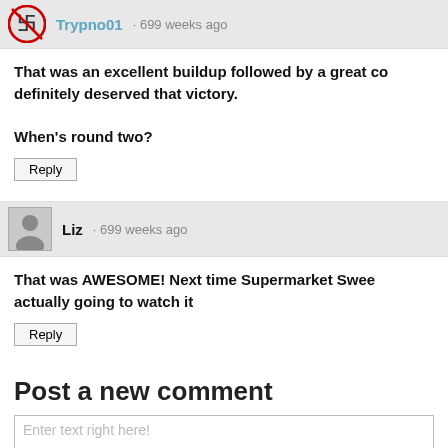Trypno01 · 699 weeks ago
That was an excellent buildup followed by a great co definitely deserved that victory.

When's round two?
Reply
Liz · 699 weeks ago
That was AWESOME! Next time Supermarket Swee actually going to watch it
Reply
Post a new comment
Enter text right here!